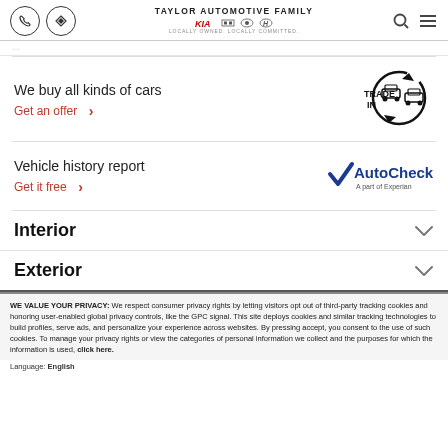Taylor Automotive Family — Phone, Map, Search, Menu icons
We buy all kinds of cars
Get an offer
[Figure (logo): TRADE IN logo with two cars in circular arrow]
Vehicle history report
Get it free
[Figure (logo): AutoCheck A part of Experian logo]
Interior
Exterior
WE VALUE YOUR PRIVACY: We respect consumer privacy rights by letting visitors opt out of third-party tracking cookies and honoring user-enabled global privacy controls, like the GPC signal. This site deploys cookies and similar tracking technologies to build profiles, serve ads, and personalize your experience across websites. By pressing accept, you consent to the use of such cookies. To manage your privacy rights or view the categories of personal information we collect and the purposes for which the information is used, click here.
Language: English